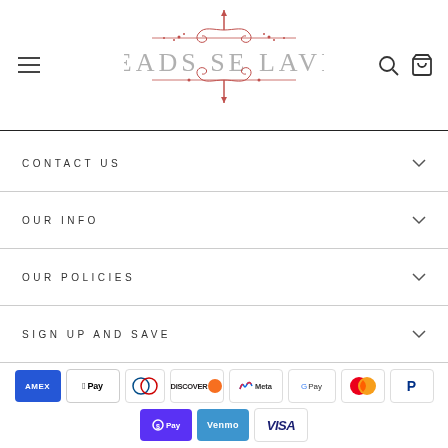[Figure (logo): Beads Se Lavie decorative logo with ornamental scrollwork in rose/pink color]
CONTACT US
OUR INFO
OUR POLICIES
SIGN UP AND SAVE
[Figure (infographic): Payment method icons: American Express, Apple Pay, Diners Club, Discover, Meta Pay, Google Pay, Mastercard, PayPal, Shop Pay, Venmo, Visa]